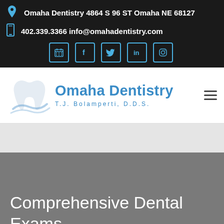Omaha Dentistry 4864 S 96 ST Omaha NE 68127
402.339.3366 info@omahadentistry.com
[Figure (logo): Social media icons: calendar, Facebook, Twitter, LinkedIn, Instagram]
[Figure (logo): Omaha Dentistry logo with tooth graphic and text: Omaha Dentistry, T.J. Bolamperti, D.D.S.]
Comprehensive Dental Exams